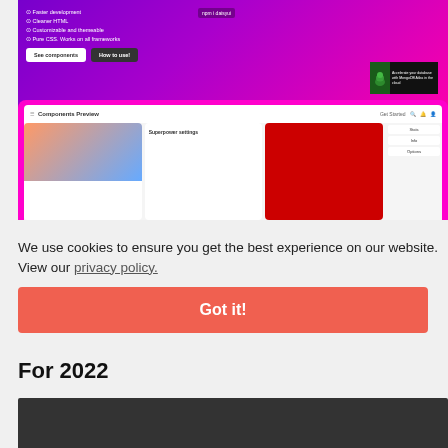[Figure (screenshot): Screenshot of a web UI component library page with purple/magenta gradient header showing bullet points (Faster development, Cleaner HTML, Customizable and themeable, Pure CSS Works on all frameworks), npm badge, two buttons (See components, How to use!), an advertisement box, and a Components Preview bar with cards below]
We use cookies to ensure you get the best experience on our website. View our privacy policy.
Got it!
For 2022